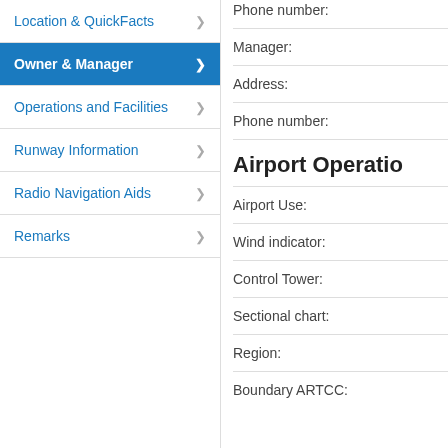Location & QuickFacts
Owner & Manager
Operations and Facilities
Runway Information
Radio Navigation Aids
Remarks
Phone number:
Manager:
Address:
Phone number:
Airport Operatio…
Airport Use:
Wind indicator:
Control Tower:
Sectional chart:
Region:
Boundary ARTCC: